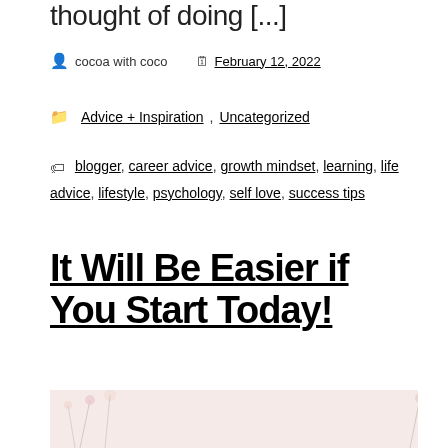thought of doing [...]
cocoa with coco   February 12, 2022
Advice + Inspiration, Uncategorized
blogger, career advice, growth mindset, learning, life advice, lifestyle, psychology, self love, success tips
It Will Be Easier if You Start Today!
[Figure (photo): Blog post featured image with floral background and gold INSPIRATION label]